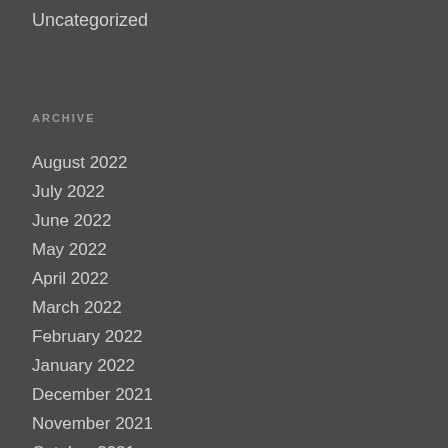Uncategorized
ARCHIVE
August 2022
July 2022
June 2022
May 2022
April 2022
March 2022
February 2022
January 2022
December 2021
November 2021
October 2021
September 2021